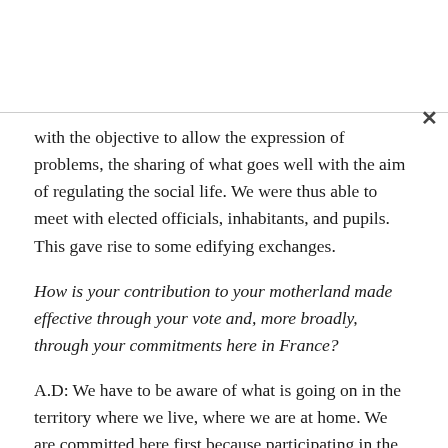with the objective to allow the expression of problems, the sharing of what goes well with the aim of regulating the social life. We were thus able to meet with elected officials, inhabitants, and pupils. This gave rise to some edifying exchanges.
How is your contribution to your motherland made effective through your vote and, more broadly, through your commitments here in France?
A.D: We have to be aware of what is going on in the territory where we live, where we are at home. We are committed here first because participating in the management of the city is our